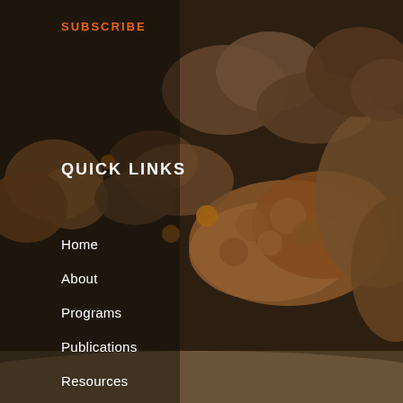[Figure (photo): Underwater coral reef photograph showing various coral formations in brown, orange, and tan colors against a dark background]
SUBSCRIBE
QUICK LINKS
Home
About
Programs
Publications
Resources
News & Events
Contact
Back To Top
[Figure (illustration): Social media icons: LinkedIn, Twitter, YouTube]